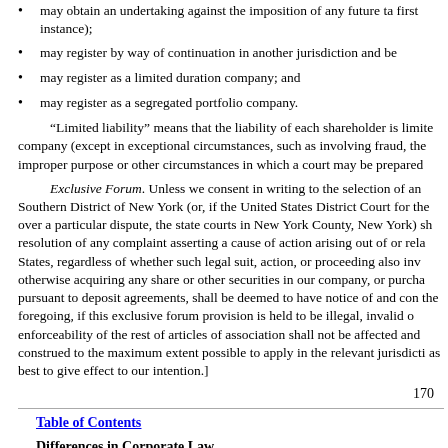may obtain an undertaking against the imposition of any future tax by the Cayman Islands government in first instance);
may register by way of continuation in another jurisdiction and be de-registered in the Cayman Islands;
may register as a limited duration company; and
may register as a segregated portfolio company.
“Limited liability” means that the liability of each shareholder is limited to the amount unpaid on their shares in the company (except in exceptional circumstances, such as involving fraud, the conduct of the business for an improper purpose or other circumstances in which a court may be prepared to ‘pierce the corporate veil’).
Exclusive Forum. Unless we consent in writing to the selection of an alternative forum, the United States District Court for the Southern District of New York (or, if the United States District Court for the Southern District of New York lacks jurisdiction over a particular dispute, the state courts in New York County, New York) shall be the exclusive forum for the resolution of any complaint asserting a cause of action arising out of or relating to the securities laws of the United States, regardless of whether such legal suit, action, or proceeding also involves our company or any of its officers. By purchasing, otherwise acquiring any share or other securities in our company, or purchasing any securities issued by our company pursuant to deposit agreements, shall be deemed to have notice of and consented to the foregoing provisions. Notwithstanding the foregoing, if this exclusive forum provision is held to be illegal, invalid or unenforceable, the illegality, invalidity or enforceability of the rest of articles of association shall not be affected and such provision shall be construed to the maximum extent possible to apply in the relevant jurisdiction, which is the next best alternative, as best to give effect to our intention.]
170
Table of Contents
Differences in Corporate Law